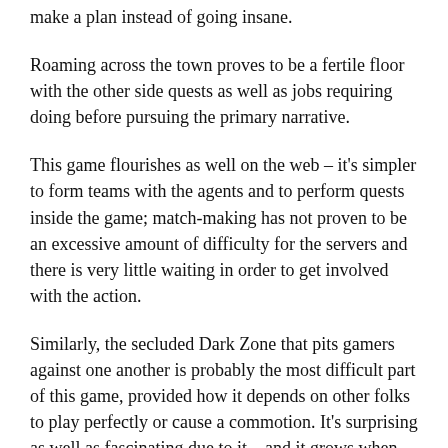make a plan instead of going insane.
Roaming across the town proves to be a fertile floor with the other side quests as well as jobs requiring doing before pursuing the primary narrative.
This game flourishes as well on the web – it's simpler to form teams with the agents and to perform quests inside the game; match-making has not proven to be an excessive amount of difficulty for the servers and there is very little waiting in order to get involved with the action.
Similarly, the secluded Dark Zone that pits gamers against one another is probably the most difficult part of this game, provided how it depends on other folks to play perfectly or cause a commotion. It's surprising as well as fascinating due to it – and it grows when measured against the remainder of this